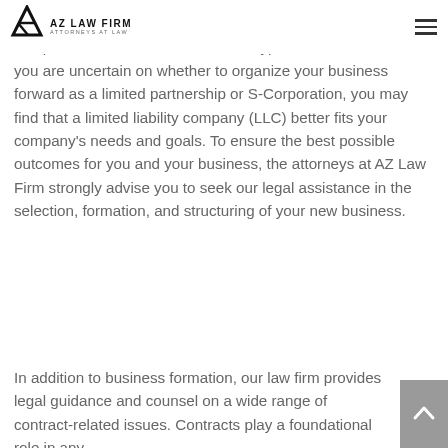AZ LAW FIRM — ATTORNEYS AT LAW
Many individuals are unsure of the benefits, drawbacks, and complications related to the various types of businesses. If you are uncertain on whether to organize your business forward as a limited partnership or S-Corporation, you may find that a limited liability company (LLC) better fits your company's needs and goals. To ensure the best possible outcomes for you and your business, the attorneys at AZ Law Firm strongly advise you to seek our legal assistance in the selection, formation, and structuring of your new business.
In addition to business formation, our law firm provides legal guidance and counsel on a wide range of contract-related issues. Contracts play a foundational role in any